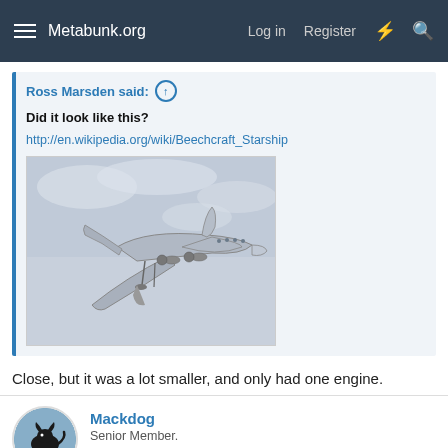Metabunk.org   Log in   Register
Ross Marsden said:
Did it look like this?
http://en.wikipedia.org/wiki/Beechcraft_Starship
[Figure (photo): Photograph of a Beechcraft Starship aircraft in flight, viewed from below against a grey sky, showing its distinctive canard pusher configuration with twin rear-mounted propellers.]
Close, but it was a lot smaller, and only had one engine.
Mackdog
Senior Member.
Sep 12, 2014